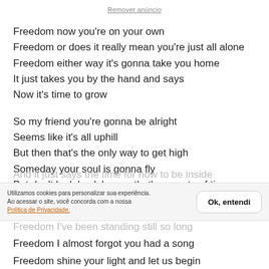Remover anúncio
Freedom now you're on your own
Freedom or does it really mean you're just all alone
Freedom either way it's gonna take you home
It just takes you by the hand and says
Now it's time to grow
So my friend you're gonna be alright
Seems like it's all uphill
But then that's the only way to get high
Someday your soul is gonna fly
But don't look back 'cause that's a waste of time
Utilizamos cookies para personalizar sua experiência. Ao acessar o site, você concorda com a nossa Política de Privacidade.
Freedom I've been standing still so long
Freedom I almost forgot you had a song
Freedom shine your light and let us begin